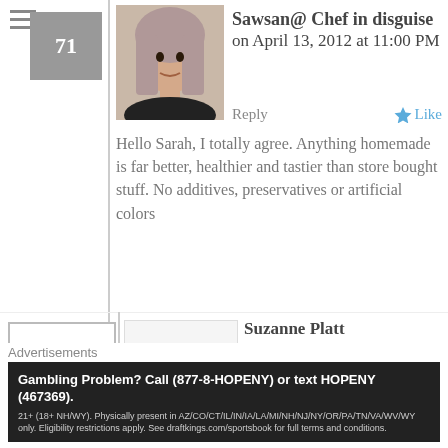71
Sawsan@ Chef in disguise on April 13, 2012 at 11:00 PM
Reply
Like
Hello Sarah, I totally agree. Anything homemade is far better, healthier and tastier than store bought stuff. No additives, preservatives or artificial colors
72
Suzanne Platt (@YouMadeThatblog) on April 13, 2012 at 6:18 AM
Reply
Like
Great round up of strawberry recipes and perfect for the season. I have a
Advertisements
Gambling Problem? Call (877-8-HOPENY) or text HOPENY (467369). 21+ (18+ NH/WY). Physically present in AZ/CO/CT/IL/IN/IA/LA/MI/NH/NJ/NY/OR/PA/TN/VA/WV/WY only. Eligibility restrictions apply. See draftkings.com/sportsbook for full terms and conditions.